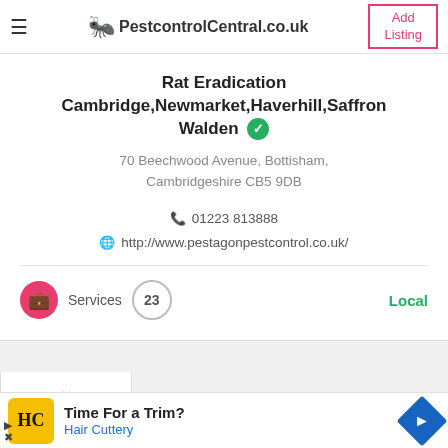PestcontrolCentral.co.uk | Add Listing
Rat Eradication Cambridge,Newmarket,Haverhill,Saffron Walden
70 Beechwood Avenue, Bottisham, Cambridgeshire CB5 9DB
01223 813888
http://www.pestagonpestcontrol.co.uk/
Services  23  Local
[Figure (infographic): Advertisement banner: HC logo (Hair Cuttery), text 'Time For a Trim?' and 'Hair Cuttery', with a blue diamond arrow icon on the right.]